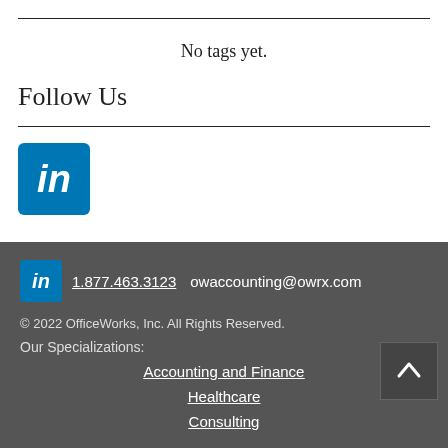No tags yet.
Follow Us
[Figure (logo): LinkedIn logo icon - blue rounded square with white italic 'in' text]
1.877.463.3123  owaccounting@owrx.com
© 2022 OfficeWorks, Inc. All Rights Reserved.
Our Specializations:
Accounting and Finance
Healthcare
Consulting